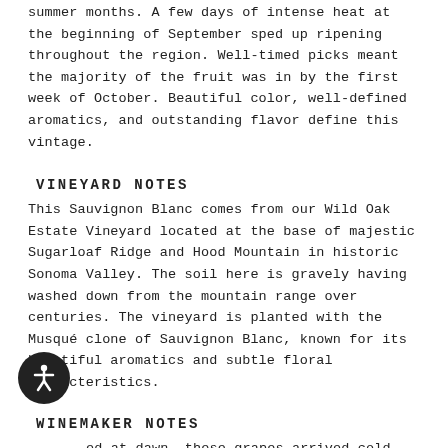summer months. A few days of intense heat at the beginning of September sped up ripening throughout the region. Well-timed picks meant the majority of the fruit was in by the first week of October. Beautiful color, well-defined aromatics, and outstanding flavor define this vintage.
VINEYARD NOTES
This Sauvignon Blanc comes from our Wild Oak Estate Vineyard located at the base of majestic Sugarloaf Ridge and Hood Mountain in historic Sonoma Valley. The soil here is gravely having washed down from the mountain range over centuries. The vineyard is planted with the Musqué clone of Sauvignon Blanc, known for its bountiful aromatics and subtle floral characteristics.
WINEMAKER NOTES
Picked at dawn, these grapes arrived cold and were carefully placed directly into our small bladder press. The free-run juice was collected and fermented slowly at